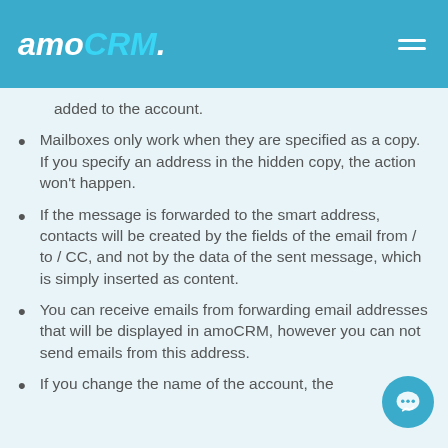amoCRM.
added to the account.
Mailboxes only work when they are specified as a copy. If you specify an address in the hidden copy, the action won't happen.
If the message is forwarded to the smart address, contacts will be created by the fields of the email from / to / CC, and not by the data of the sent message, which is simply inserted as content.
You can receive emails from forwarding email addresses that will be displayed in amoCRM, however you can not send emails from this address.
If you change the name of the account, the